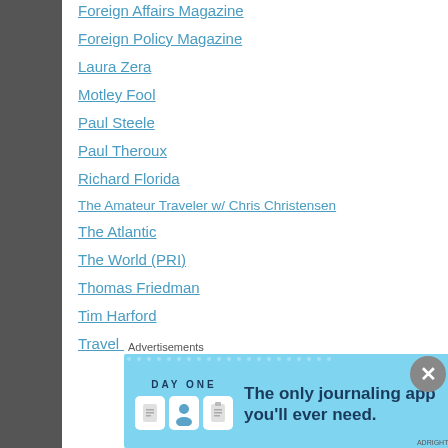Foreign Affairs Magazine
Foreign Policy Magazine
Laura Zera
Motley Fool
Paul Steele
Paul Theroux
Richard Florida
The Amateur Traveler w/ Chris Christensen
The Atlantic
The World (PRI)
Thomas Friedman
Tim Harford
Travel Europe with Rick Steves
Advertisements
[Figure (photo): Day One journaling app advertisement banner with light blue background. Shows DAY ONE logo text, three app icons (a document, a person, and a notepad), and tagline 'The only journaling app you'll ever need.']